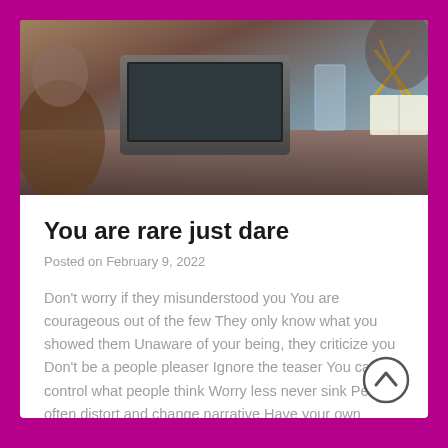[Figure (photo): Business meeting photo showing people around a table with a laptop, glass of water, books, and a gold geometric decorative object]
You are rare just dare
Posted on February 9, 2022
Don't worry if they misunderstood you You are courageous out of the few They only know what you showed them Unaware of your being, they criticize you Don't be a people pleaser Ignore the teaser You cannot control what people think Worry less never sink People often distort and change narrative Have your own perception…